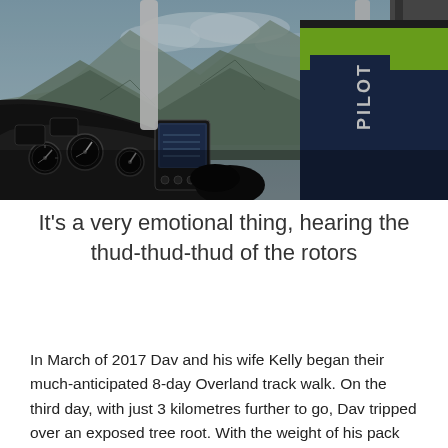[Figure (photo): View from inside a helicopter cockpit showing the instrument panel and dashboard with various gauges and dials. Through the windshield, rugged rocky mountains with green vegetation are visible. A pilot wearing a high-visibility yellow and black jacket with 'PILOT' text on the sleeve is visible on the right side of the frame.]
It's a very emotional thing, hearing the thud-thud-thud of the rotors
In March of 2017 Dav and his wife Kelly began their much-anticipated 8-day Overland track walk. On the third day, with just 3 kilometres further to go, Dav tripped over an exposed tree root. With the weight of his pack propelling him forward he